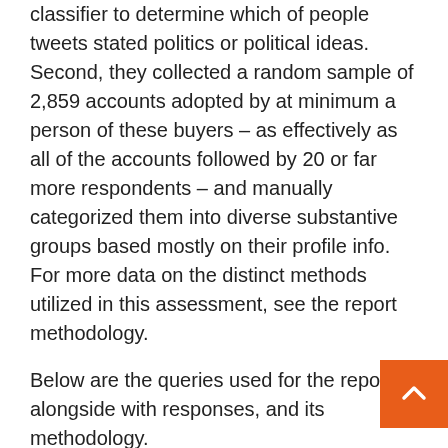classifier to determine which of people tweets stated politics or political ideas. Second, they collected a random sample of 2,859 accounts adopted by at minimum a person of these buyers – as effectively as all of the accounts followed by 20 or far more respondents – and manually categorized them into diverse substantive groups based mostly on their profile info. For more data on the distinct methods utilized in this assessment, see the report methodology.
Below are the queries used for the report, alongside with responses, and its methodology.
Approximately a single-quarter of American adults use Twitter. And when they share their views on the site, pretty often they are undertaking so about politics and political challenges. A new Pew Analysis Middle